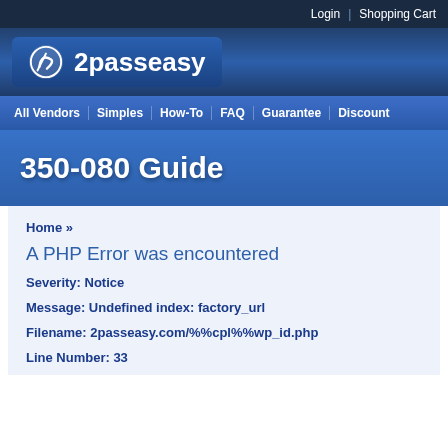Login | Shopping Cart
[Figure (logo): 2passeasy logo with circular icon on blue gradient background]
All Vendors | Simples | How-To | FAQ | Guarantee | Discount
350-080 Guide
Home »
A PHP Error was encountered
Severity: Notice
Message: Undefined index: factory_url
Filename: 2passeasy.com/%%cpl%%wp_id.php
Line Number: 33